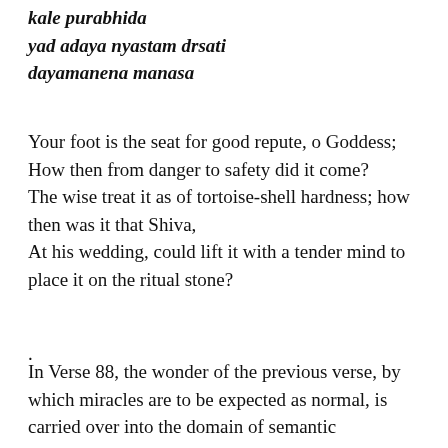kale purabhida yad adaya nyastam drsati dayamanena manasa
Your foot is the seat for good repute, o Goddess; How then from danger to safety did it come? The wise treat it as of tortoise-shell hardness; how then was it that Shiva, At his wedding, could lift it with a tender mind to place it on the ritual stone?
.
In Verse 88, the wonder of the previous verse, by which miracles are to be expected as normal, is carried over into the domain of semantic polyvalence. Punning is not considered quite respectable in societies that conform to conventional standards, but Shakespeare indulges in it very